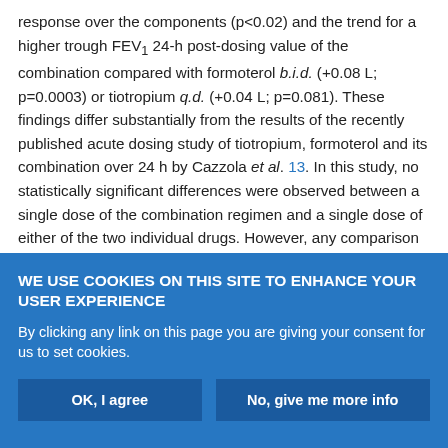response over the components (p<0.02) and the trend for a higher trough FEV1 24-h post-dosing value of the combination compared with formoterol b.i.d. (+0.08 L; p=0.0003) or tiotropium q.d. (+0.04 L; p=0.081). These findings differ substantially from the results of the recently published acute dosing study of tiotropium, formoterol and its combination over 24 h by Cazzola et al. 13. In this study, no statistically significant differences were observed between a single dose of the combination regimen and a single dose of either of the two individual drugs. However, any comparison between the studies is hampered by the fact that, as indicated by Cazzola et al. 13, their study appeared to be underpowered, and spirometric measurements
WE USE COOKIES ON THIS SITE TO ENHANCE YOUR USER EXPERIENCE
By clicking any link on this page you are giving your consent for us to set cookies.